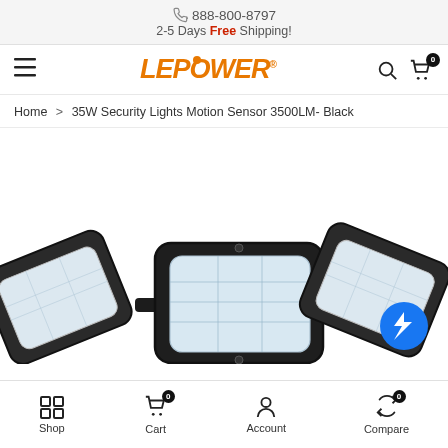888-800-8797  2-5 Days Free Shipping!
[Figure (logo): LEPOWER brand logo in orange italic bold text with registered trademark symbol]
Home > 35W Security Lights Motion Sensor 3500LM- Black
[Figure (photo): Close-up photo of a triple-head LED security flood light in black color, showing three LED panels]
Shop  Cart 0  Account  Compare 0